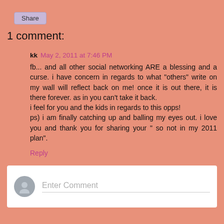Share
1 comment:
kk  May 2, 2011 at 7:46 PM
fb... and all other social networking ARE a blessing and a curse. i have concern in regards to what "others" write on my wall will reflect back on me! once it is out there, it is there forever. as in you can't take it back.
i feel for you and the kids in regards to this opps!
ps) i am finally catching up and balling my eyes out. i love you and thank you for sharing your " so not in my 2011 plan".
Reply
Enter Comment